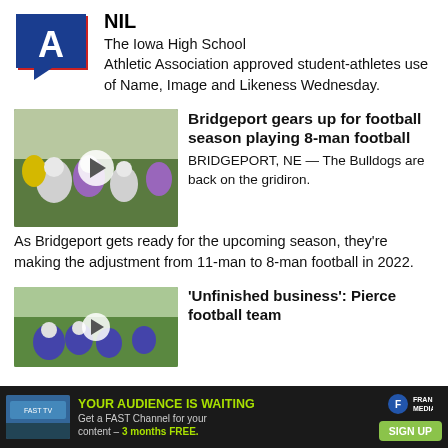[Figure (logo): Iowa High School Athletic Association logo — red pennant shape with blue 'A' letter]
NIL
The Iowa High School Athletic Association approved student-athletes use of Name, Image and Likeness Wednesday.
[Figure (photo): Football players in white helmets and purple uniforms practicing on a field, with a video play button overlay]
Bridgeport gears up for football season playing 8-man football
BRIDGEPORT, NE — The Bulldogs are back on the gridiron. As Bridgeport gets ready for the upcoming season, they're making the adjustment from 11-man to 8-man football in 2022.
[Figure (photo): Football players on a field practicing, green trees in background, with a video play button overlay]
'Unfinished business': Pierce football team
[Figure (advertisement): Ad banner: YOUR AUDIENCE IS WAITING — Get a FAST Channel for your content – 3 months FREE. Frankly Media. SIGN UP button.]